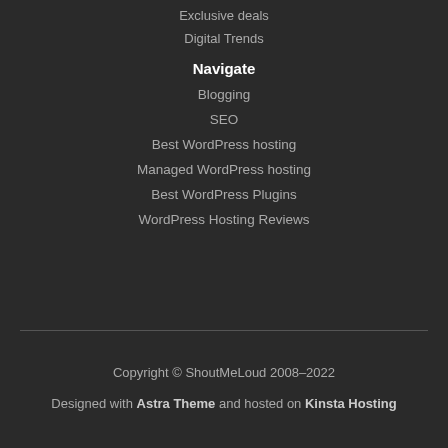Exclusive deals
Digital Trends
Navigate
Blogging
SEO
Best WordPress hosting
Managed WordPress hosting
Best WordPress Plugins
WordPress Hosting Reviews
Copyright © ShoutMeLoud 2008–2022
Designed with Astra Theme and hosted on Kinsta Hosting